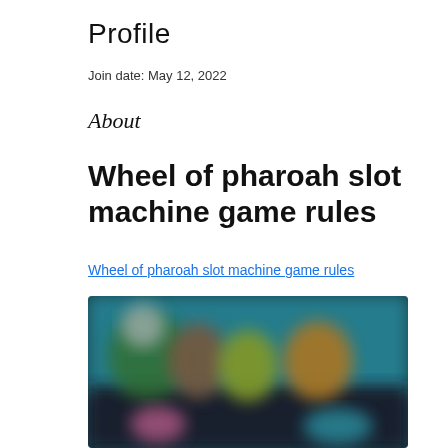Profile
Join date: May 12, 2022
About
Wheel of pharoah slot machine game rules
Wheel of pharoah slot machine game rules
[Figure (screenshot): Blurred screenshot of a slot machine game with colorful characters on a dark background]